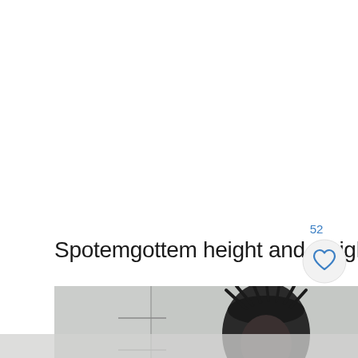52
Spotemgottem height and weight
[Figure (photo): Mugshot-style photograph of a person wearing a distinctive hat with spiky/feathery decoration, standing in front of a wall with text '1074' and '22 St.' visible]
[Figure (other): Heart/like button icon (white circle with heart outline) and search button icon (blue circle with magnifying glass)]